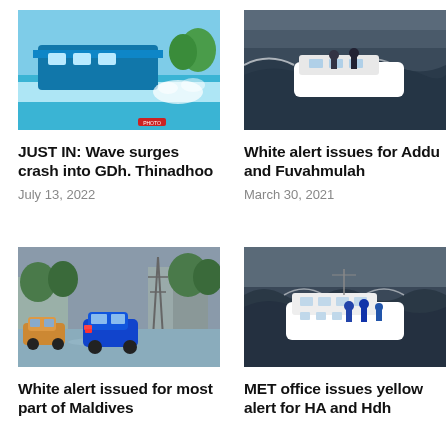[Figure (photo): Wave surges crashing at GDh. Thinadhoo waterfront with boats and water spray]
JUST IN: Wave surges crash into GDh. Thinadhoo
July 13, 2022
[Figure (photo): A white speedboat navigating rough dark choppy seas with crew on deck]
White alert issues for Addu and Fuvahmulah
March 30, 2021
[Figure (photo): Flooded street with cars driving through water, trees and buildings in background]
White alert issued for most part of Maldives
[Figure (photo): A white ferry boat on rough choppy seas with crew visible]
MET office issues yellow alert for HA and Hdh